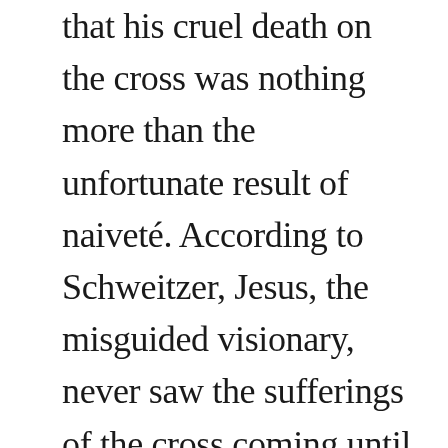that his cruel death on the cross was nothing more than the unfortunate result of naiveté. According to Schweitzer, Jesus, the misguided visionary, never saw the sufferings of the cross coming until it was too late: